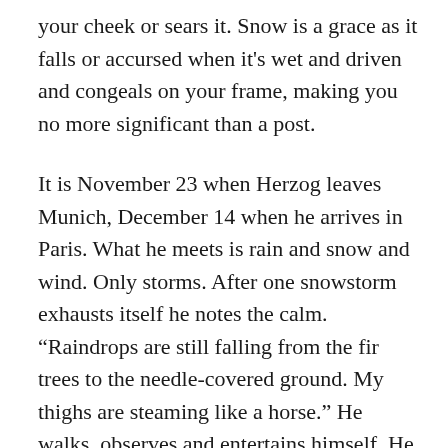your cheek or sears it. Snow is a grace as it falls or accursed when it’s wet and driven and congeals on your frame, making you no more significant than a post.
It is November 23 when Herzog leaves Munich, December 14 when he arrives in Paris. What he meets is rain and snow and wind. Only storms. After one snowstorm exhausts itself he notes the calm. “Raindrops are still falling from the fir trees to the needle-covered ground. My thighs are steaming like a horse.” He walks, observes and entertains himself. He passes small villages, takes the occasional meal in cafes and inns. He writes, “The fare tonight shall be fowl, says the